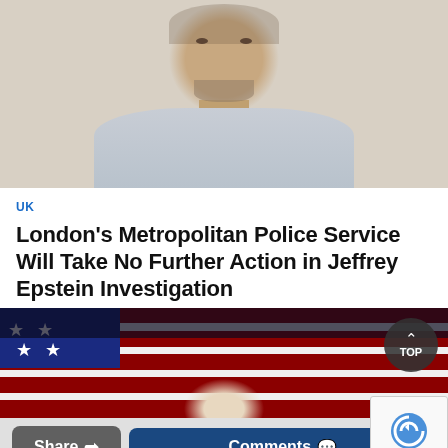[Figure (photo): Mugshot-style photo of a middle-aged man with gray stubble beard wearing a light gray t-shirt against a beige/off-white wall background]
UK
London's Metropolitan Police Service Will Take No Further Action in Jeffrey Epstein Investigation
[Figure (photo): Partial view of an American flag (stars and red/white stripes) with a hand/fist visible at the bottom center, dark background at top]
Share
Comments
Privacy · Terms